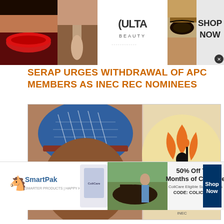[Figure (photo): Top advertisement banner for ULTA Beauty showing makeup close-ups, lips, brush, eyes, and ULTA Beauty logo with 'SHOP NOW' button]
SERAP URGES WITHDRAWAL OF APC MEMBERS AS INEC REC NOMINEES
[Figure (photo): News article image showing a man wearing a traditional Nigerian cap and glasses on the left, and an INEC (Independent National Electoral Commission) logo silhouette on the right]
[Figure (photo): Bottom advertisement for SmartPak featuring '50% Off Two Months of ColiCare, ColiCare Eligible Supplements, CODE: COLICARE10' with horse and rider imagery and 'Shop Now' button]